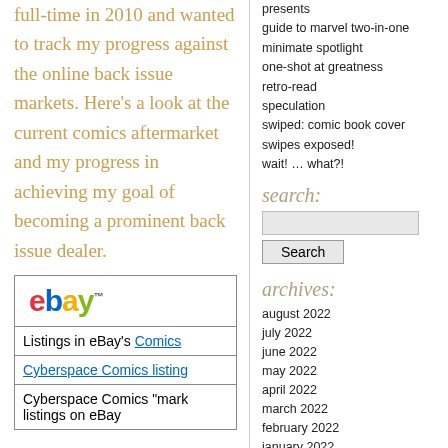full-time in 2010 and wanted to track my progress against the online back issue markets. Here's a look at the current comics aftermarket and my progress in achieving my goal of becoming a prominent back issue dealer.
[Figure (logo): eBay logo with red e, blue b, yellow a, green y]
Listings in eBay's Comics
Cyberspace Comics listing
Cyberspace Comics "mark listings on eBay
presents
guide to marvel two-in-one
minimate spotlight
one-shot at greatness
retro-read
speculation
swiped: comic book cover swipes exposed!
wait!  … what?!
search:
archives:
august 2022
july 2022
june 2022
may 2022
april 2022
march 2022
february 2022
january 2022
december 2021
november 2021
october 2021
september 2021
august 2021
july 2021
june 2021
may 2021